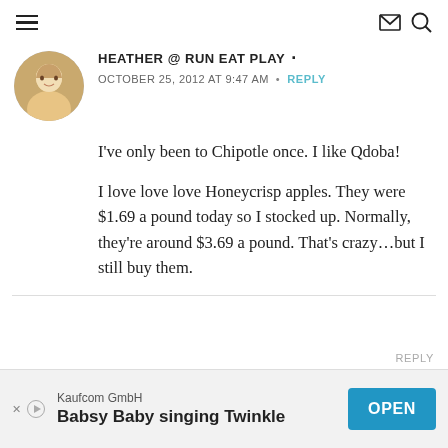Navigation menu with hamburger icon, envelope icon, and search icon
HEATHER @ RUN EAT PLAY •
OCTOBER 25, 2012 AT 9:47 AM • REPLY
I've only been to Chipotle once. I like Qdoba!

I love love love Honeycrisp apples. They were $1.69 a pound today so I stocked up. Normally, they're around $3.69 a pound. That's crazy…but I still buy them.
[Figure (other): Advertisement banner for Kaufcom GmbH: Babsy Baby singing Twinkle, with OPEN button]